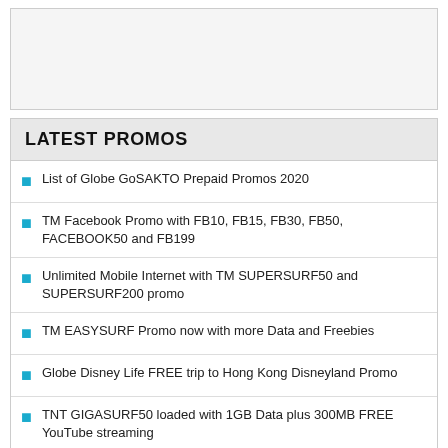[Figure (other): Empty gray box placeholder at top of page]
LATEST PROMOS
List of Globe GoSAKTO Prepaid Promos 2020
TM Facebook Promo with FB10, FB15, FB30, FB50, FACEBOOK50 and FB199
Unlimited Mobile Internet with TM SUPERSURF50 and SUPERSURF200 promo
TM EASYSURF Promo now with more Data and Freebies
Globe Disney Life FREE trip to Hong Kong Disneyland Promo
TNT GIGASURF50 loaded with 1GB Data plus 300MB FREE YouTube streaming
Globe Prepaid GOTSCOMBOKEA37 Promo is loaded with 1GB Data for just Php37
Smart Prepaid Giga Surf 299 comes with 2GB Internet Surfing and FREE iWant TV subscription
Globe Prepaid GOCOMBOAHBBFEE170 Promo with Calls and Texts